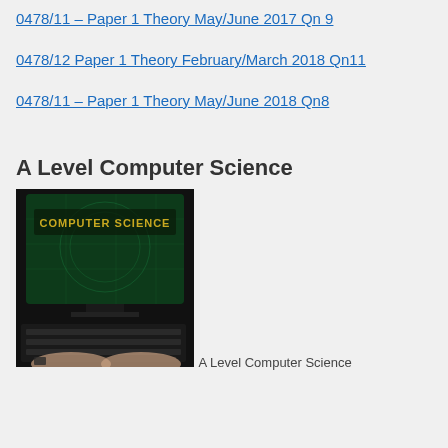0478/11 – Paper 1 Theory May/June 2017 Qn 9
0478/12 Paper 1 Theory February/March 2018 Qn11
0478/11 – Paper 1 Theory May/June 2018  Qn8
A Level Computer Science
[Figure (photo): A person typing on a computer keyboard with a monitor displaying 'COMPUTER SCIENCE' text on a green digital background]
A Level Computer Science